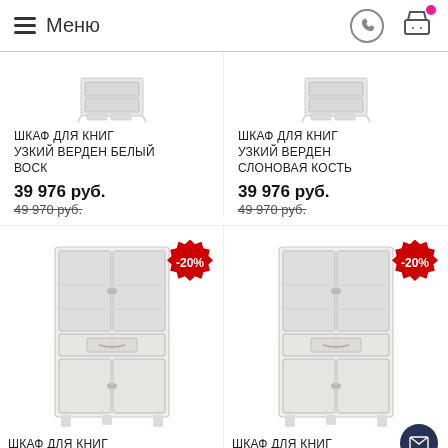Меню
ШКАФ ДЛЯ КНИГ УЗКИЙ ВЕРДЕН БЕЛЫЙ ВОСК
39 976 руб. / 49 970 руб.
ШКАФ ДЛЯ КНИГ УЗКИЙ ВЕРДЕН СЛОНОВАЯ КОСТЬ
39 976 руб. / 49 970 руб.
[Figure (photo): Small bookcase image top-left]
[Figure (photo): Small bookcase image top-right]
[Figure (photo): Large wide bookcase image bottom-left with -20% badge]
[Figure (photo): Large wide bookcase image bottom-right with -20% badge]
ШКАФ ДЛЯ КНИГ ШИРОКИЙ ВЕРДЕН
ШКАФ ДЛЯ КНИГ ШИРОКИЙ ВЕРДЕН